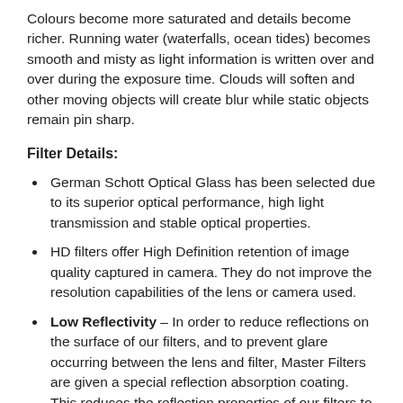Colours become more saturated and details become richer. Running water (waterfalls, ocean tides) becomes smooth and misty as light information is written over and over during the exposure time. Clouds will soften and other moving objects will create blur while static objects remain pin sharp.
Filter Details:
German Schott Optical Glass has been selected due to its superior optical performance, high light transmission and stable optical properties.
HD filters offer High Definition retention of image quality captured in camera. They do not improve the resolution capabilities of the lens or camera used.
Low Reflectivity – In order to reduce reflections on the surface of our filters, and to prevent glare occurring between the lens and filter, Master Filters are given a special reflection absorption coating. This reduces the reflection properties of our filters to less than 1.5%
Anti Infra-red, low colour shift. In order to reduce the red colour shift caused by infra-red light pollution, Benro Master Filters are coated with an anti reflection treatment, cancelling out infra-red light waves before they can enter the camera sensor. Our advanced